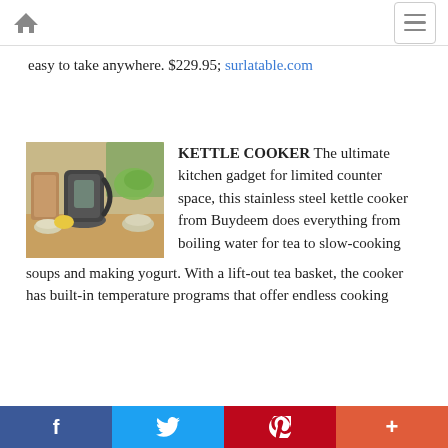Home / Menu
easy to take anywhere. $229.95; surlatable.com
[Figure (photo): A kettle cooker from Buydeem displayed on a kitchen counter with cutting boards, bowls, and fresh vegetables in the background.]
KETTLE COOKER The ultimate kitchen gadget for limited counter space, this stainless steel kettle cooker from Buydeem does everything from boiling water for tea to slow-cooking soups and making yogurt. With a lift-out tea basket, the cooker has built-in temperature programs that offer endless cooking
f  Twitter  P  +